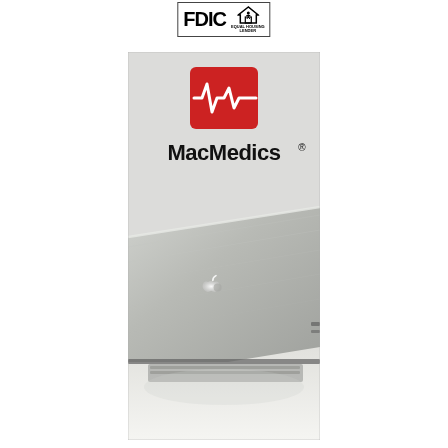[Figure (logo): FDIC and Equal Housing Lender logos in a bordered box at top center]
[Figure (photo): MacMedics branded advertisement showing the MacMedics logo (red rectangle with white heartbeat/ECG line and 'MacMedics' text in bold) above a photo of a silver Apple MacBook Air laptop partially open, viewed from the back showing the Apple logo glowing on the lid.]